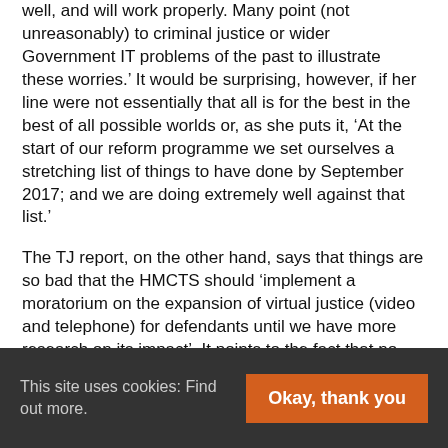well, and will work properly. Many point (not unreasonably) to criminal justice or wider Government IT problems of the past to illustrate these worries.' It would be surprising, however, if her line were not essentially that all is for the best in the best of all possible worlds or, as she puts it, ‘At the start of our reform programme we set ourselves a stretching list of things to have done by September 2017; and we are doing extremely well against that list.’
The TJ report, on the other hand, says that things are so bad that the HMCTS should ‘implement a moratorium on the expansion of virtual justice (video and telephone) for defendants until we have more research on its impact’. It points to the fact that no objective research has been carried out on the criminal digitalisation process since 2010 – the formation of the Coalition Government. More
This site uses cookies: Find out more.
Okay, thank you